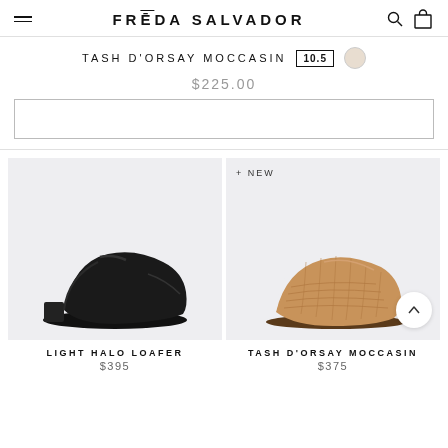FRĒDA SALVADOR
TASH D'ORSAY MOCCASIN  10.5
$225.00
[Figure (photo): Black leather loafer shoe (Light Halo Loafer)]
LIGHT HALO LOAFER
$395
[Figure (photo): Tan woven leather d'orsay moccasin shoe (Tash D'Orsay Moccasin), with + NEW badge and scroll-up button]
TASH D'ORSAY MOCCASIN
$375